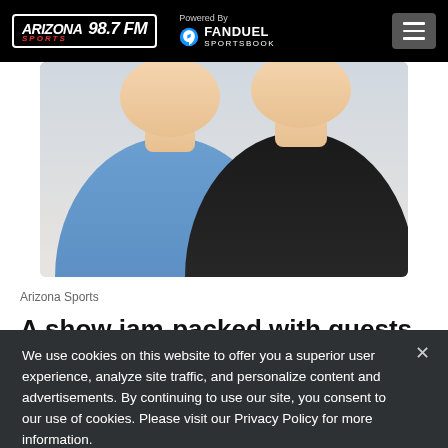Arizona Sports 98.7 FM | Powered By FanDuel Sportsbook
[Figure (photo): Two men in casual attire — one in a blue button-down shirt, one in a black zip-up jacket — posed for a radio show photo against a white background.]
Arizona Sports
A show jam-packed with guests sends
We use cookies on this website to offer you a superior user experience, analyze site traffic, and personalize content and advertisements. By continuing to use our site, you consent to our use of cookies. Please visit our Privacy Policy for more information.
Accept Cookies